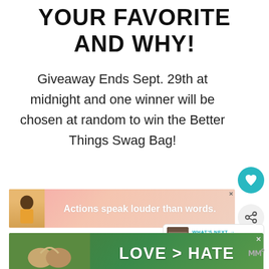YOUR FAVORITE AND WHY!
Giveaway Ends Sept. 29th at midnight and one winner will be chosen at random to win the Better Things Swag Bag!
[Figure (infographic): Teal circular heart/like button icon]
[Figure (infographic): Gray circular share button icon]
[Figure (infographic): Advertisement banner: person in yellow shirt, text 'Actions speak louder than words.' on pink/peach gradient background, with X close button]
[Figure (infographic): What's Next widget: thumbnail image of Red Robin Restaurant, label 'WHAT'S NEXT', text 'Red Robin Restaurant...']
[Figure (infographic): Advertisement banner: hands forming heart shape on green nature background, large bold text 'LOVE > HATE', with X close button]
[Figure (logo): MRC logo in gray, bottom right]